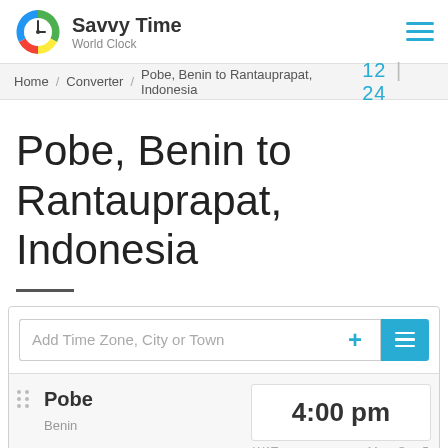[Figure (logo): Savvy Time World Clock logo — colorful circle with clock hands]
Savvy Time / World Clock
Home / Converter / Pobe, Benin to Rantauprapat, Indonesia    12 | 24
Pobe, Benin to Rantauprapat, Indonesia
Add Time Zone, City or Town
Pobe   4:00 pm   Benin   WAT   Mon, Sep 5